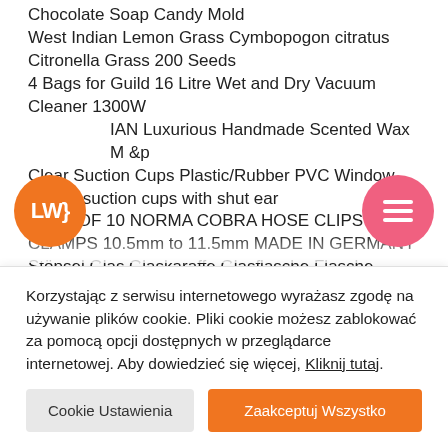Chocolate Soap Candy Mold
West Indian Lemon Grass Cymbopogon citratus
Citronella Grass 200 Seeds
4 Bags for Guild 16 Litre Wet and Dry Vacuum Cleaner 1300W
IAN Luxurious Handmade Scented Wax M &p
Clear Suction Cups Plastic/Rubber PVC Window car pic suction cups with shut ear
PACK OF 10 NORMA COBRA HOSE CLIPS CLAMPS 10.5mm to 11.5mm MADE IN GERMANY
Stöpsel Glas Glaskaraffe Glasflasche Flasche Flakon S...
Korzystając z serwisu internetowego wyrażasz zgodę na używanie plików cookie. Pliki cookie możesz zablokować za pomocą opcji dostępnych w przeglądarce internetowej. Aby dowiedzieć się więcej, Kliknij tutaj.
Cookie Ustawienia
Zaakceptuj Wszystko